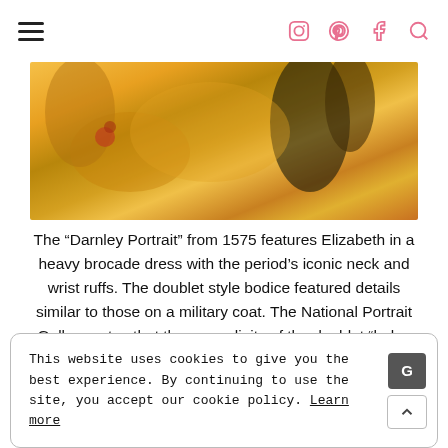Navigation header with hamburger menu and social icons (Instagram, Pinterest, Facebook, Search)
[Figure (photo): Close-up detail of an ornate brocade dress fabric with gold floral patterns, dark feathers, and rich embellishment from a Renaissance portrait.]
The “Darnley Portrait” from 1575 features Elizabeth in a heavy brocade dress with the period’s iconic neck and wrist ruffs. The doublet style bodice featured details similar to those on a military coat. The National Portrait Gallery notes that the masculinity of the doublet “helps create an image of a woman equal to her male counterparts in other European countries.” Her dress was not simply a dress, it was a symbol of her status and position on a global stage of
This website uses cookies to give you the best experience. By continuing to use the site, you accept our cookie policy. Learn more